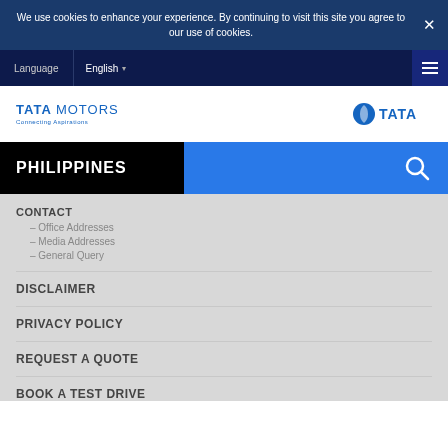We use cookies to enhance your experience. By continuing to visit this site you agree to our use of cookies.
Language  English
[Figure (logo): Tata Motors logo with 'Connecting Aspirations' tagline on left; Tata group logo on right]
PHILIPPINES
CONTACT
– Office Addresses
– Media Addresses
– General Query
DISCLAIMER
PRIVACY POLICY
REQUEST A QUOTE
BOOK A TEST DRIVE